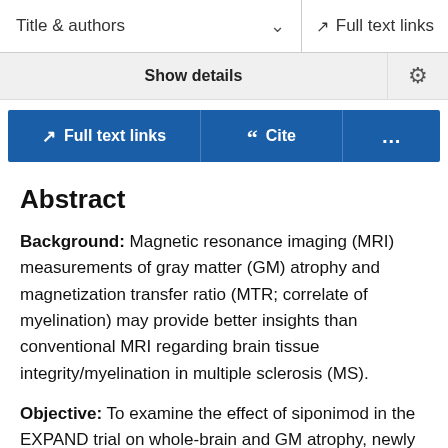Title & authors  ∨  Full text links
Show details
Full text links  Cite  ...
Abstract
Background: Magnetic resonance imaging (MRI) measurements of gray matter (GM) atrophy and magnetization transfer ratio (MTR; correlate of myelination) may provide better insights than conventional MRI regarding brain tissue integrity/myelination in multiple sclerosis (MS).
Objective: To examine the effect of siponimod in the EXPAND trial on whole-brain and GM atrophy, newly formed normalized magnetization transfer ratio (nMTR) lesions, and nMTR-assessed integrity of normal-